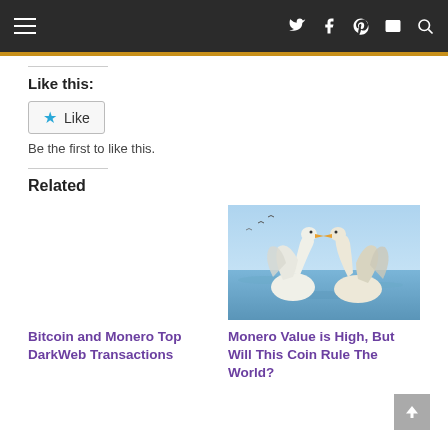Navigation bar with hamburger menu and social icons (Twitter, Facebook, Pinterest, Email, Search)
Like this:
Like
Be the first to like this.
Related
Bitcoin and Monero Top DarkWeb Transactions
[Figure (photo): Two white swans with wings spread facing each other over blue water]
Monero Value is High, But Will This Coin Rule The World?